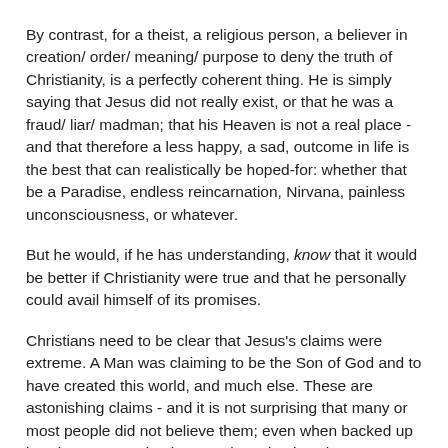By contrast, for a theist, a religious person, a believer in creation/ order/ meaning/ purpose to deny the truth of Christianity, is a perfectly coherent thing. He is simply saying that Jesus did not really exist, or that he was a fraud/ liar/ madman; that his Heaven is not a real place - and that therefore a less happy, a sad, outcome in life is the best that can realistically be hoped-for: whether that be a Paradise, endless reincarnation, Nirvana, painless unconsciousness, or whatever.
But he would, if he has understanding, know that it would be better if Christianity were true and that he personally could avail himself of its promises.
Christians need to be clear that Jesus's claims were extreme. A Man was claiming to be the Son of God and to have created this world, and much else. These are astonishing claims - and it is not surprising that many or most people did not believe them; even when backed up by what appeared to be amazing miracles, the endorsement of the holiest prophet alive (John the Baptist), by fulfilment of